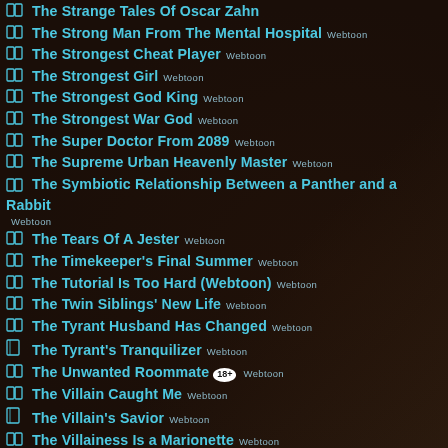The Strange Tales Of Oscar Zahn
The Strong Man From The Mental Hospital Webtoon
The Strongest Cheat Player Webtoon
The Strongest Girl Webtoon
The Strongest God King Webtoon
The Strongest War God Webtoon
The Super Doctor From 2089 Webtoon
The Supreme Urban Heavenly Master Webtoon
The Symbiotic Relationship Between a Panther and a Rabbit Webtoon
The Tears Of A Jester Webtoon
The Timekeeper's Final Summer Webtoon
The Tutorial Is Too Hard (Webtoon) Webtoon
The Twin Siblings' New Life Webtoon
The Tyrant Husband Has Changed Webtoon
The Tyrant's Tranquilizer Webtoon
The Unwanted Roommate 18+ Webtoon
The Villain Caught Me Webtoon
The Villain's Savior Webtoon
The Villainess Is a Marionette Webtoon
The Villainess Lives Twice Webtoon
The Villainess Reverses The Hourglass Webtoon
The Villainess Wants to be a Sidekick Webtoon
The Villainess Wears an Idiot's Mask Webtoon
The Villainess's Survival Plan Webtoon